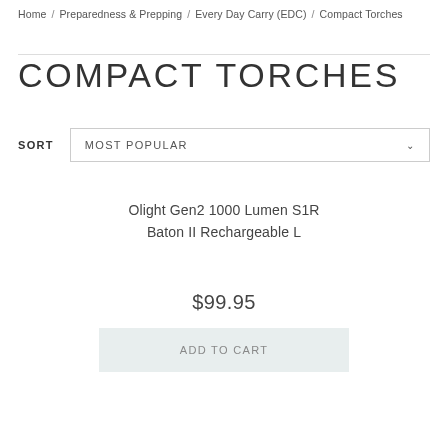Home / Preparedness & Prepping / Every Day Carry (EDC) / Compact Torches
COMPACT TORCHES
SORT   MOST POPULAR
Olight Gen2 1000 Lumen S1R Baton II Rechargeable L
$99.95
ADD TO CART